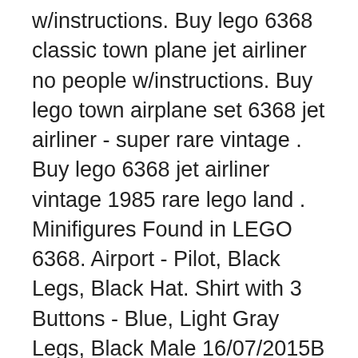w/instructions. Buy lego 6368 classic town plane jet airliner no people w/instructions. Buy lego town airplane set 6368 jet airliner - super rare vintage . Buy lego 6368 jet airliner vintage 1985 rare lego land . Minifigures Found in LEGO 6368. Airport - Pilot, Black Legs, Black Hat. Shirt with 3 Buttons - Blue, Light Gray Legs, Black Male 16/07/2015В В· LetвЂ™s build Lego Jet Plane with Lego Classic 10693 Set. LEGOB® Creative Supplement Item: 10693 Ages: 4-99 Pieces: 303 Get ideas, get creative and get building! Get busy building whatever you
> LEGO Instructions > Buy LEGO Tech instructions LEGO Concorde